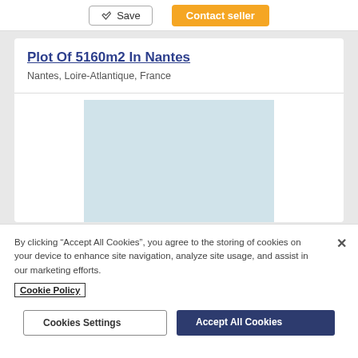[Figure (screenshot): Save and Contact seller buttons in a top bar]
Plot Of 5160m2 In Nantes
Nantes, Loire-Atlantique, France
[Figure (photo): Light blue/grey placeholder image for property listing]
By clicking "Accept All Cookies", you agree to the storing of cookies on your device to enhance site navigation, analyze site usage, and assist in our marketing efforts.
Cookie Policy
Cookies Settings
Accept All Cookies